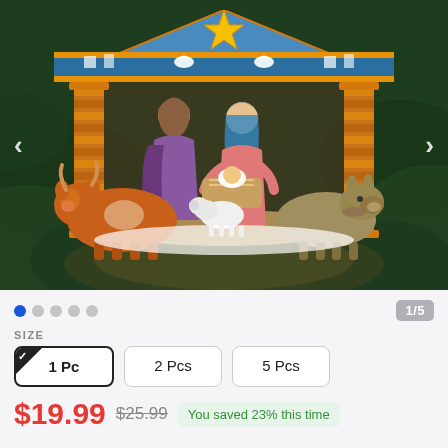[Figure (photo): Product photo of a colorful nativity scene Christmas ornament hanging on a Christmas tree. The ornament depicts a stable with Joseph, Mary, baby Jesus, a cow, a lamb, and a donkey. The ornament has decorative blue roof with a gold star on top. Navigation arrows visible on left and right sides of the image.]
1/5
SIZE
1 Pc
2 Pcs
5 Pcs
$19.99 $25.99 You saved 23% this time